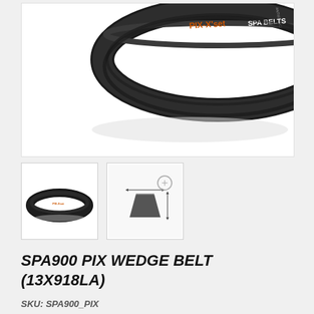[Figure (photo): Main product photo of a black PIX-Xset SPA industrial wedge belt coiled, showing orange text 'PIX-Xset SPA BELTS' on the top surface. Background is white.]
[Figure (photo): Thumbnail photo of the same black PIX wedge belt viewed as a small coiled ring from slightly above.]
[Figure (engineering-diagram): Thumbnail engineering cross-section diagram of the wedge/V-belt profile showing a trapezoidal cross-section with dimension indicator arrows.]
SPA900 PIX WEDGE BELT (13X918LA)
SKU: SPA900_PIX